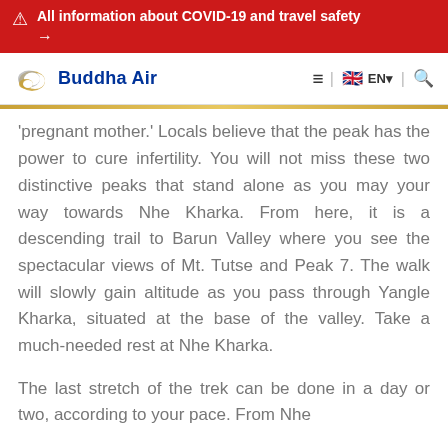All information about COVID-19 and travel safety →
[Figure (logo): Buddha Air logo with golden wing motif and blue bold text 'Buddha Air', navigation bar with hamburger menu, UK flag, EN language selector, and search icon]
'pregnant mother.' Locals believe that the peak has the power to cure infertility. You will not miss these two distinctive peaks that stand alone as you may your way towards Nhe Kharka. From here, it is a descending trail to Barun Valley where you see the spectacular views of Mt. Tutse and Peak 7. The walk will slowly gain altitude as you pass through Yangle Kharka, situated at the base of the valley. Take a much-needed rest at Nhe Kharka.
The last stretch of the trek can be done in a day or two, according to your pace. From Nhe